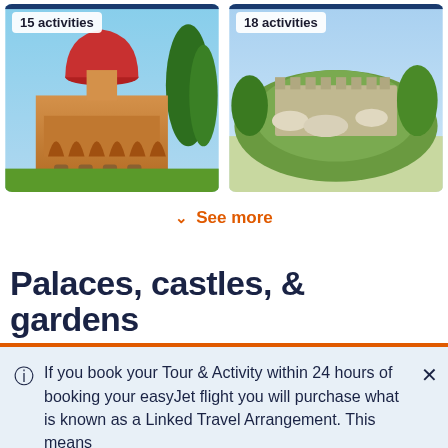[Figure (photo): Photo of a Moorish-style palace with red dome and ornate arches, 15 activities badge]
[Figure (photo): Aerial photo of a hilltop castle surrounded by green trees, 18 activities badge]
See more
Palaces, castles, & gardens
If you book your Tour & Activity within 24 hours of booking your easyJet flight you will purchase what is known as a Linked Travel Arrangement. This means
GetYourGuide uses cookies to give you the best possible service. If you continue browsing, you agree to the use of cookies. More details can be found in our privacy policy.